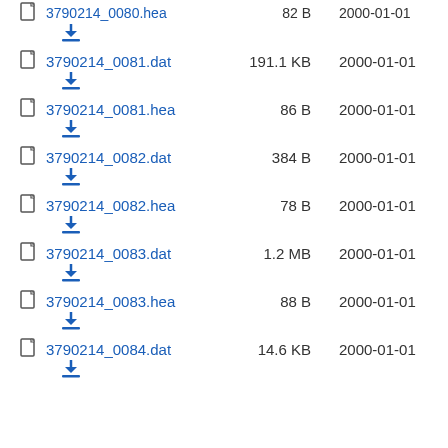3790214_0080.hea  82 B  2000-01-01
3790214_0081.dat  191.1 KB  2000-01-01
3790214_0081.hea  86 B  2000-01-01
3790214_0082.dat  384 B  2000-01-01
3790214_0082.hea  78 B  2000-01-01
3790214_0083.dat  1.2 MB  2000-01-01
3790214_0083.hea  88 B  2000-01-01
3790214_0084.dat  14.6 KB  2000-01-01